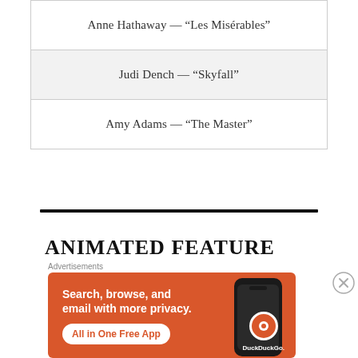| Anne Hathaway — “Les Misérables” |
| Judi Dench — “Skyfall” |
| Amy Adams — “The Master” |
ANIMATED FEATURE
[Figure (other): DuckDuckGo advertisement banner: orange background with text 'Search, browse, and email with more privacy. All in One Free App' and a phone image with DuckDuckGo logo]